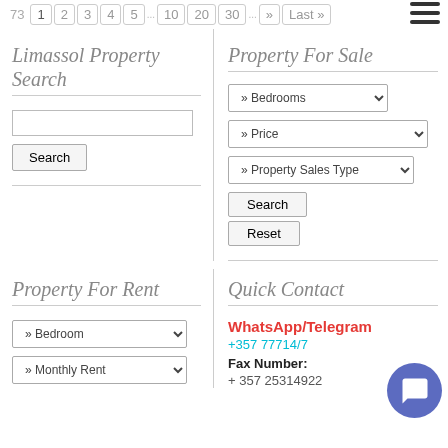73 1 2 3 4 5 ... 10 20 30 ... » Last »
Limassol Property Search
Property For Sale
» Bedrooms (dropdown)
» Price (dropdown)
» Property Sales Type (dropdown)
Search | Reset buttons
Property For Rent
Quick Contact
» Bedroom (dropdown)
» Monthly Rent (dropdown)
WhatsApp/Telegram
+357 77714/7
Fax Number:
+ 357 25314922